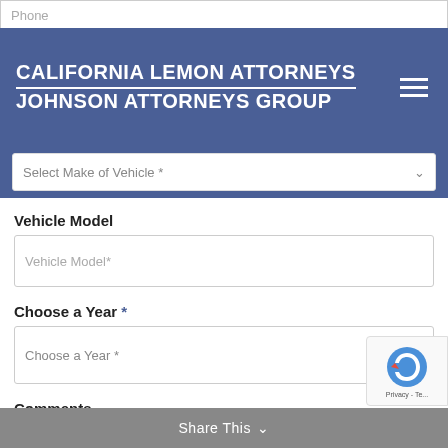Phone
CALIFORNIA LEMON ATTORNEYS — JOHNSON ATTORNEYS GROUP
Select Make of Vehicle *
Vehicle Model
Vehicle Model*
Choose a Year *
Choose a Year *
Comments
Tell us about your potential case*
Share This